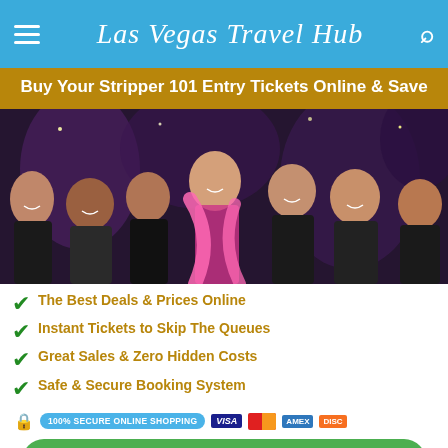Las Vegas Travel Hub
Buy Your Stripper 101 Entry Tickets Online & Save
[Figure (photo): Group of women at a party event, some wearing black outfits, one in pink feather boa, at what appears to be Stripper 101 show]
The Best Deals & Prices Online
Instant Tickets to Skip The Queues
Great Sales & Zero Hidden Costs
Safe & Secure Booking System
100% SECURE ONLINE SHOPPING  VISA  MasterCard  AMEX  Discover
Buy Online Now & Save on Admission Prices